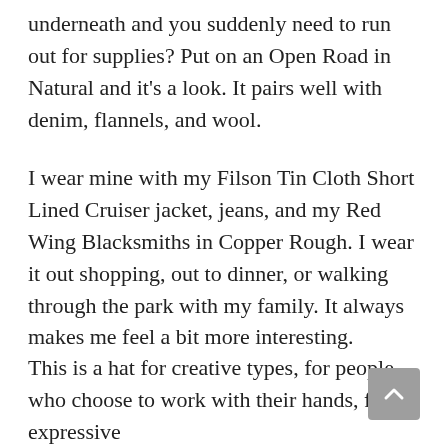underneath and you suddenly need to run out for supplies? Put on an Open Road in Natural and it's a look. It pairs well with denim, flannels, and wool.
I wear mine with my Filson Tin Cloth Short Lined Cruiser jacket, jeans, and my Red Wing Blacksmiths in Copper Rough. I wear it out shopping, out to dinner, or walking through the park with my family. It always makes me feel a bit more interesting.
This is a hat for creative types, for people who choose to work with their hands, for expressive